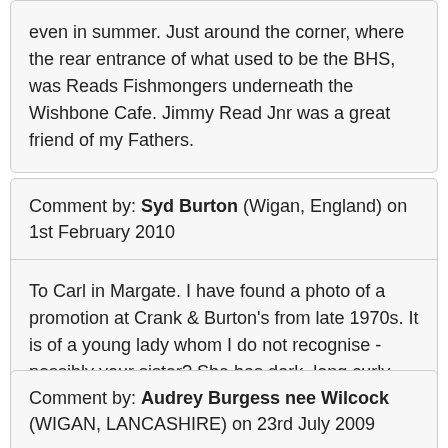even in summer. Just around the corner, where the rear entrance of what used to be the BHS, was Reads Fishmongers underneath the Wishbone Cafe. Jimmy Read Jnr was a great friend of my Fathers.
Comment by: Syd Burton (Wigan, England) on 1st February 2010
To Carl in Margate. I have found a photo of a promotion at Crank & Burton's from late 1970s. It is of a young lady whom I do not recognise - possibly your sister? She has dark, long curly hair.
Comment by: Audrey Burgess nee Wilcock (WIGAN, LANCASHIRE) on 23rd July 2009